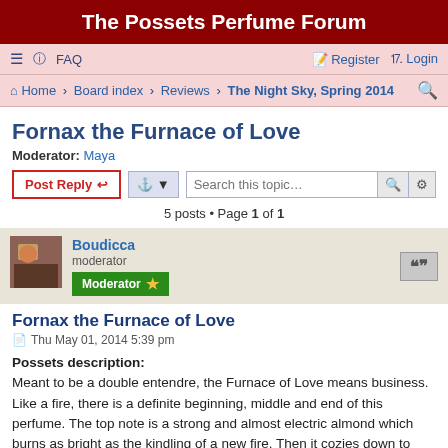The Possets Perfume Forum
≡  FAQ    Register  Login
Home › Board index › Reviews › The Night Sky, Spring 2014
Fornax the Furnace of Love
Moderator: Maya
Post Reply  [tools]  Search this topic...
5 posts • Page 1 of 1
Boudicca
moderator
Moderator
Fornax the Furnace of Love
Thu May 01, 2014 5:39 pm
Possets description:
Meant to be a double entendre, the Furnace of Love means business. Like a fire, there is a definite beginning, middle and end of this perfume. The top note is a strong and almost electric almond which burns as bright as the kindling of a new fire. Then it cozies down to cinnamon, and a really boozy vanilla, a hard shot of musk finishes it off. Very sexy, great for a date night which stretches into a much longer time frame.